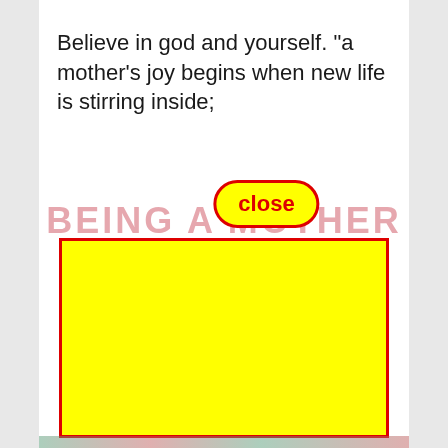Believe in god and yourself. “a mother’s joy begins when new life is stirring inside;
[Figure (screenshot): A screenshot of a mobile web page showing a 'close' button (yellow background with red border and red text) overlaid on a partial title 'BEING A MOTHER' in pink/rose large bold letters, with a large yellow rectangle with red border covering most of the lower portion of the image. Decorative floral pattern visible at the very bottom.]